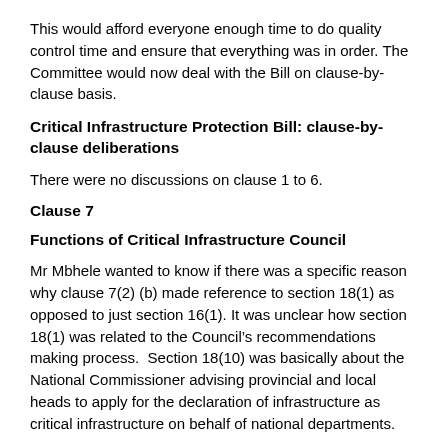This would afford everyone enough time to do quality control time and ensure that everything was in order. The Committee would now deal with the Bill on clause-by-clause basis.
Critical Infrastructure Protection Bill: clause-by-clause deliberations
There were no discussions on clause 1 to 6.
Clause 7
Functions of Critical Infrastructure Council
Mr Mbhele wanted to know if there was a specific reason why clause 7(2) (b) made reference to section 18(1) as opposed to just section 16(1). It was unclear how section 18(1) was related to the Council’s recommendations making process.  Section 18(10) was basically about the National Commissioner advising provincial and local heads to apply for the declaration of infrastructure as critical infrastructure on behalf of national departments.
Brig Van Der Walt said that Mr Mbhele was quite correct and this would be amended accordingly. The reference to section 18(1) should be deleted.